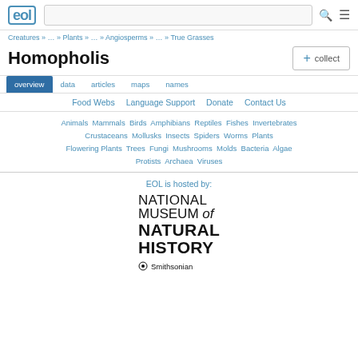EOL | [search box] | [menu icon]
Creatures » … » Plants » … » Angiosperms » … » True Grasses
Homopholis
+ collect
overview | data | articles | maps | names
Food Webs  Language Support  Donate  Contact Us
Animals  Mammals  Birds  Amphibians  Reptiles  Fishes  Invertebrates  Crustaceans  Mollusks  Insects  Spiders  Worms  Plants  Flowering Plants  Trees  Fungi  Mushrooms  Molds  Bacteria  Algae  Protists  Archaea  Viruses
EOL is hosted by:
[Figure (logo): National Museum of Natural History, Smithsonian logo in black text]